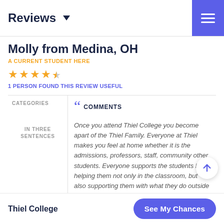Reviews
Molly from Medina, OH
A CURRENT STUDENT HERE
★★★★½ rating — 1 PERSON FOUND THIS REVIEW USEFUL
CATEGORIES | COMMENTS
IN THREE SENTENCES
Once you attend Thiel College you become apart of the Thiel Family. Everyone at Thiel makes you feel at home whether it is the admissions, professors, staff, community other students. Everyone supports the students by helping them not only in the classroom, but also supporting them with what they do outside of the classroom!
Thiel College — See My Chances